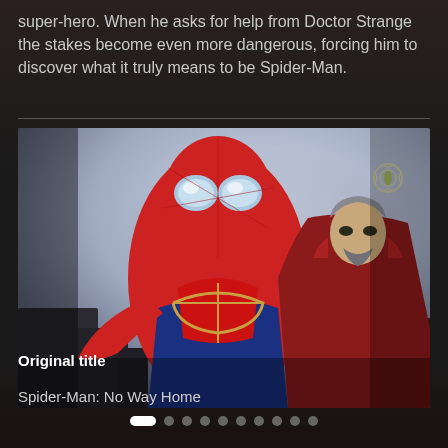super-hero. When he asks for help from Doctor Strange the stakes become even more dangerous, forcing him to discover what it truly means to be Spider-Man.
[Figure (photo): Movie promotional image showing Spider-Man in red and blue Iron Spider suit in foreground, and Doctor Strange in red cloak in background, against a dramatic sky backdrop.]
Original title
Spider-Man: No Way Home